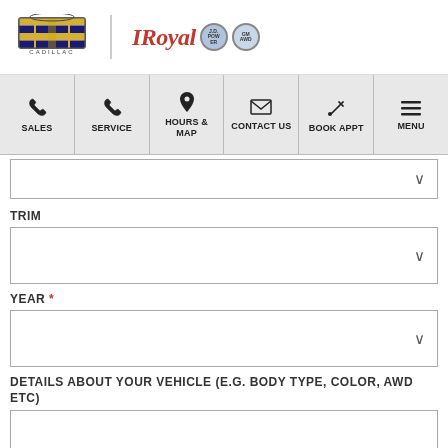[Figure (logo): Cadillac crest logo and Royal dealership logo with award badges]
[Figure (infographic): Navigation bar with icons: SALES (phone), SERVICE (phone), HOURS & MAP (location pin), CONTACT US (envelope), BOOK APPT (wrench), MENU (hamburger)]
TRIM
YEAR *
DETAILS ABOUT YOUR VEHICLE (E.G. BODY TYPE, COLOR, AWD ETC)